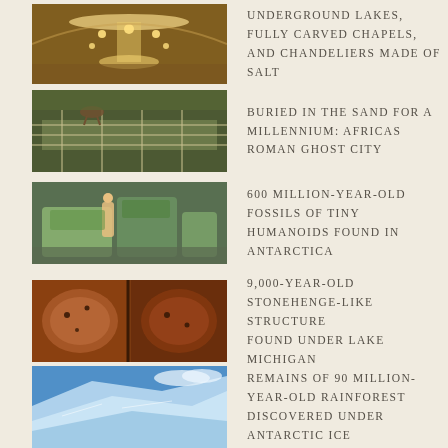[Figure (photo): Interior of a salt mine chapel with chandeliers made of salt]
UNDERGROUND LAKES, FULLY CARVED CHAPELS, AND CHANDELIERS MADE OF SALT
[Figure (photo): Aerial view of a Roman ruins site buried in sand]
BURIED IN THE SAND FOR A MILLENNIUM: AFRICAS ROMAN GHOST CITY
[Figure (photo): Fossils and excavation in Antarctica]
600 MILLION-YEAR-OLD FOSSILS OF TINY HUMANOIDS FOUND IN ANTARCTICA
[Figure (photo): Stonehenge-like structure found under Lake Michigan]
9,000-YEAR-OLD STONEHENGE-LIKE STRUCTURE FOUND UNDER LAKE MICHIGAN
[Figure (photo): Antarctic ice with blue sky, rainforest remains discovered underneath]
REMAINS OF 90 MILLION-YEAR-OLD RAINFOREST DISCOVERED UNDER ANTARCTIC ICE